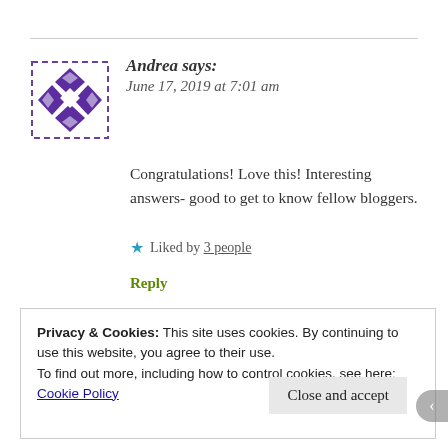Andrea says: June 17, 2019 at 7:01 am
Congratulations! Love this! Interesting answers- good to get to know fellow bloggers.
Liked by 3 people
Reply
Privacy & Cookies: This site uses cookies. By continuing to use this website, you agree to their use.
To find out more, including how to control cookies, see here: Cookie Policy
Close and accept